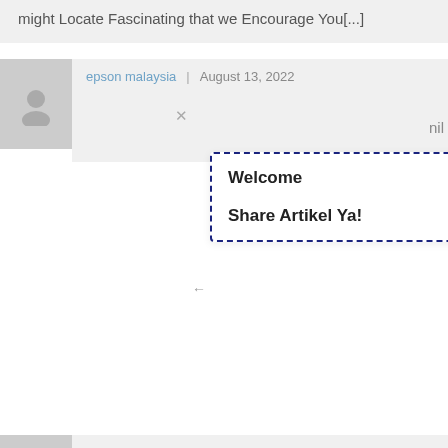might Locate Fascinating that we Encourage You[...]
epson malaysia | August 13, 2022
Welcome
Share Artikel Ya!
nil
download lagu ojo dibandingke | August 14, 2022
After looking into a number of the blog posts on your blog, I really like your way of blogging. I book marked it to my bookmark website list and will be checking back soon. Please check out my web site too and tell me your opinion.